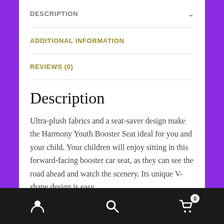DESCRIPTION
ADDITIONAL INFORMATION
REVIEWS (0)
Description
Ultra-plush fabrics and a seat-saver design make the Harmony Youth Booster Seat ideal for you and your child. Your children will enjoy sitting in this forward-facing booster car seat, as they can see the road ahead and watch the scenery. Its unique V-shape design is easy